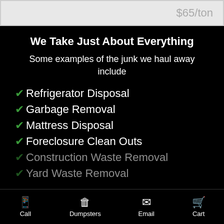$65/ton
We Take Just About Everything
Some examples of the junk we haul away include
Refrigerator Disposal
Garbage Removal
Mattress Disposal
Foreclosure Clean Outs
Construction Waste Removal
Yard Waste Removal
Call | Dumpsters | Email | Cart